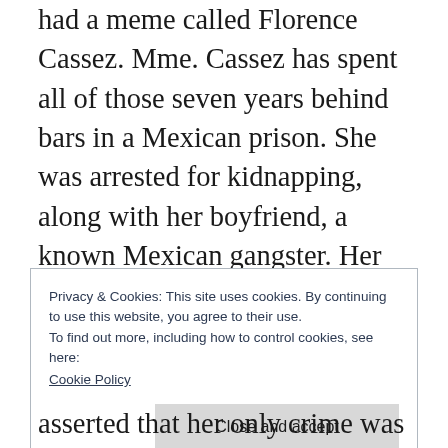had a meme called Florence Cassez. Mme. Cassez has spent all of those seven years behind bars in a Mexican prison. She was arrested for kidnapping, along with her boyfriend, a known Mexican gangster. Her arrest was filmed by Mexican television. The entire country, terrorized as it is by drug wars and gangs, both imported from Colombia where the climate is not so comfortable any more, and home grown, watched as a foreign criminal was brought to justice by the
Privacy & Cookies: This site uses cookies. By continuing to use this website, you agree to their use.
To find out more, including how to control cookies, see here:
Cookie Policy

Close and accept
asserted that her only crime was poor choice in